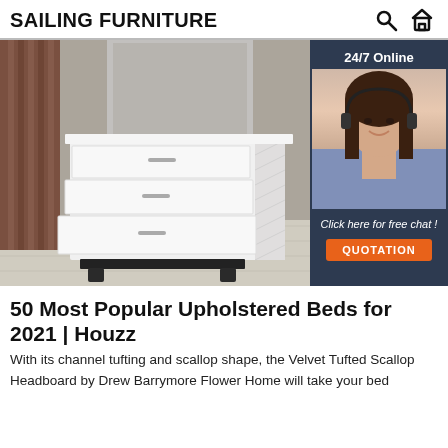SAILING FURNITURE
[Figure (photo): White three-drawer dresser with dark tapered legs and silver handles, displayed in a room with wooden panel wall, mirror, and gray wood floor. Overlaid with a 24/7 customer service chat widget showing a female agent with headset.]
50 Most Popular Upholstered Beds for 2021 | Houzz
With its channel tufting and scallop shape, the Velvet Tufted Scallop Headboard by Drew Barrymore Flower Home will take your bed